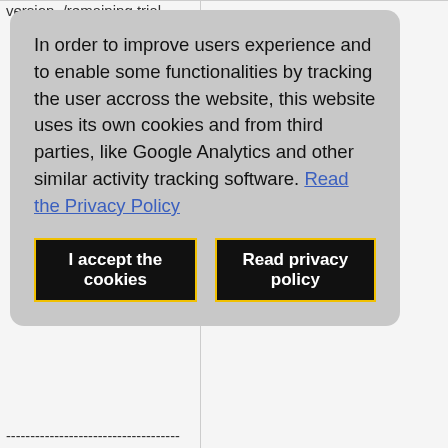version, /remaining trial
In order to improve users experience and to enable some functionalities by tracking the user accross the website, this website uses its own cookies and from third parties, like Google Analytics and other similar activity tracking software. Read the Privacy Policy
I accept the cookies | Read privacy policy
------------------------------------
------------------------------------
-
PID: 3307063, Running job as: root
------------------------------------
------------------------------------
------------------------------------
-
Remote xsibackup binary found at: /scratch/XSI/XSIBackup-DC/xsibackup
------------------------------------